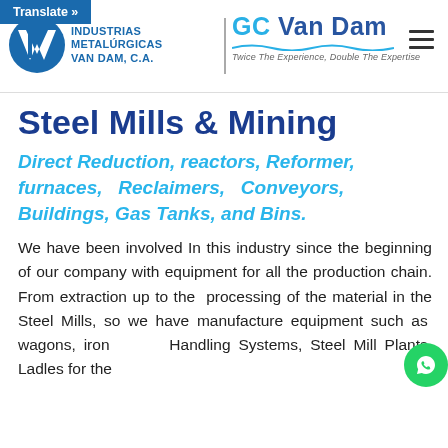Translate » | INDUSTRIAS METALÚRGICAS VAN DAM, C.A. | GC Van Dam — Twice The Experience, Double The Expertise
Steel Mills & Mining
Direct Reduction, reactors, Reformer, furnaces, Reclaimers, Conveyors, Buildings, Gas Tanks, and Bins.
We have been involved In this industry since the beginning of our company with equipment for all the production chain. From extraction up to the processing of the material in the Steel Mills, so we have manufacture equipment such as wagons, iron Handling Systems, Steel Mill Plants, Ladles for the